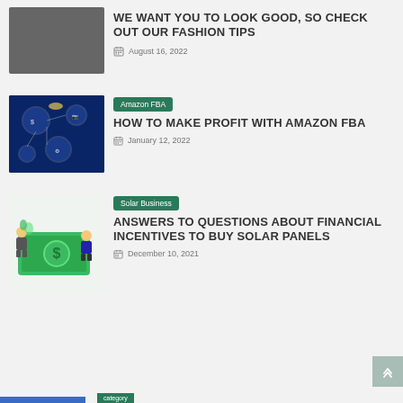[Figure (photo): Gray placeholder thumbnail image for fashion tips article]
WE WANT YOU TO LOOK GOOD, SO CHECK OUT OUR FASHION TIPS
August 16, 2022
[Figure (illustration): Dark blue background with circular icons of money, camera, and tools — Amazon FBA concept illustration]
Amazon FBA
HOW TO MAKE PROFIT WITH AMAZON FBA
January 12, 2022
[Figure (illustration): Cartoon illustration of two small characters next to a large green dollar bill — Solar Business financial incentives concept]
Solar Business
ANSWERS TO QUESTIONS ABOUT FINANCIAL INCENTIVES TO BUY SOLAR PANELS
December 10, 2021